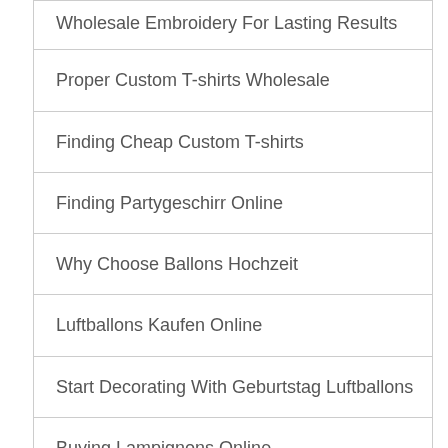Wholesale Embroidery For Lasting Results
Proper Custom T-shirts Wholesale
Finding Cheap Custom T-shirts
Finding Partygeschirr Online
Why Choose Ballons Hochzeit
Luftballons Kaufen Online
Start Decorating With Geburtstag Luftballons
Buying Lampignons Online
Getting Creative With Einladung Geburtstag
Geburtstag Luftballons For A Complete